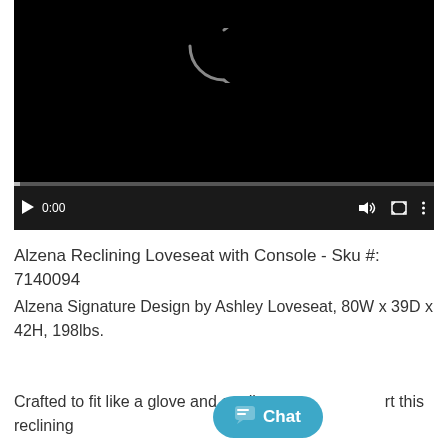[Figure (screenshot): Embedded video player with black background, spinner/loading arc at top center, playback controls bar at bottom showing play button, time 0:00, volume icon, fullscreen icon, and more options icon, with a grey progress bar.]
Alzena Reclining Loveseat with Console - Sku #: 7140094
Alzena Signature Design by Ashley Loveseat, 80W x 39D x 42H, 198lbs.
Crafted to fit like a glove and cradle [Chat] rt this reclining